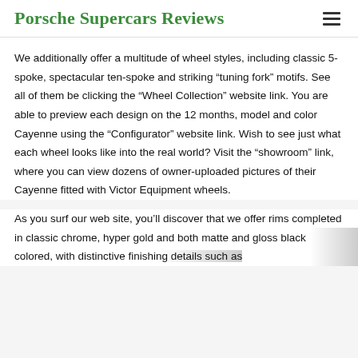Porsche Supercars Reviews
We additionally offer a multitude of wheel styles, including classic 5-spoke, spectacular ten-spoke and striking “tuning fork” motifs. See all of them be clicking the “Wheel Collection” website link. You are able to preview each design on the 12 months, model and color Cayenne using the “Configurator” website link. Wish to see just what each wheel looks like into the real world? Visit the “showroom” link, where you can view dozens of owner-uploaded pictures of their Cayenne fitted with Victor Equipment wheels.
As you surf our web site, you’ll discover that we offer rims completed in classic chrome, hyper gold and both matte and gloss black colored, with distinctive finishing details such as